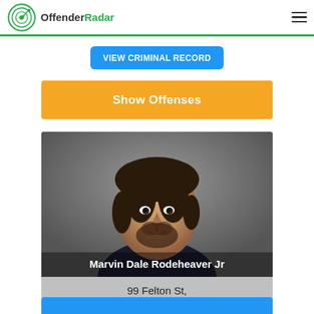OffenderRadar
View Criminal Record
Show Offenses
[Figure (photo): Mugshot of Marvin Dale Rodeheaver Jr, a white male with dark hair and beard wearing a dark hoodie, photographed against a gray background]
Marvin Dale Rodeheaver Jr
99 Felton St,
Terra Alta, WV 26764